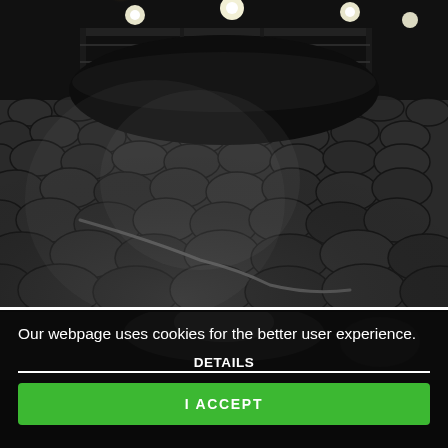[Figure (photo): Nighttime photo of a cobblestone road or courtyard lit by bright overhead lights. A large dark curved structure or barrier (possibly a dumpster or shipping container) is visible in the middle-ground, surrounded by a fence. The cobblestones are wet and reflective.]
[Figure (photo): Partial second nighttime photo partially obscured by cookie consent overlay. Shows a blurred bright light source and dark surroundings.]
Our webpage uses cookies for the better user experience.
DETAILS
I ACCEPT